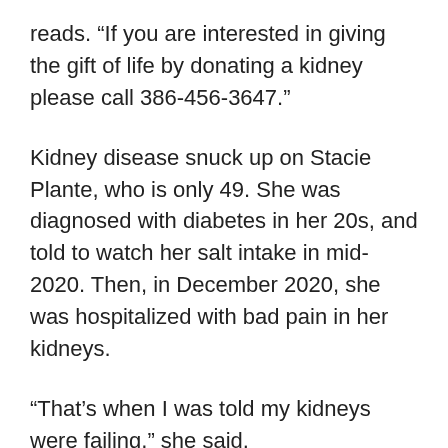reads. “If you are interested in giving the gift of life by donating a kidney please call 386-456-3647.”
Kidney disease snuck up on Stacie Plante, who is only 49. She was diagnosed with diabetes in her 20s, and told to watch her salt intake in mid-2020. Then, in December 2020, she was hospitalized with bad pain in her kidneys.
“That’s when I was told my kidneys were failing,” she said.